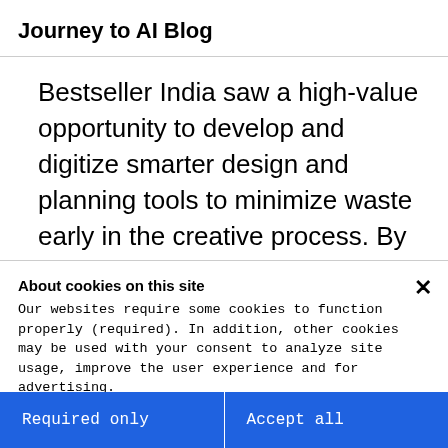Journey to AI Blog
Bestseller India saw a high-value opportunity to develop and digitize smarter design and planning tools to minimize waste early in the creative process. By designing and producing apparel that more accurately matches market demand, the clothing company could reduce the high
About cookies on this site
Our websites require some cookies to function properly (required). In addition, other cookies may be used with your consent to analyze site usage, improve the user experience and for advertising.

For more information, please review your Cookie preferences options and IBM's privacy statement.
Required only
Accept all